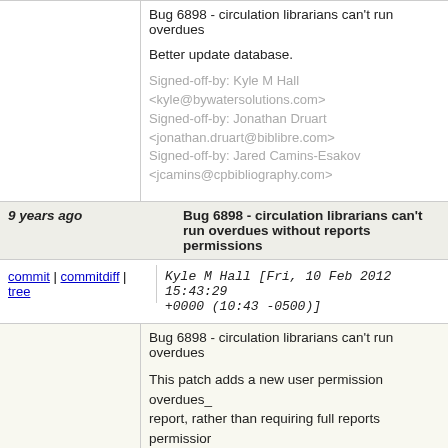Bug 6898 - circulation librarians can't run overdues
Better update database.
Signed-off-by: Kyle M Hall <kyle@bywatersolutions.com>
Signed-off-by: Jonathan Druart <jonathan.druart@biblibre.com>
Signed-off-by: Jared Camins-Esakov <jcamins@cpbibliography.com>
9 years ago   Bug 6898 - circulation librarians can't run overdues without reports permissions
commit | commitdiff | tree   Kyle M Hall [Fri, 10 Feb 2012 15:43:29 +0000 (10:43 -0500)]
Bug 6898 - circulation librarians can't run overdues
This patch adds a new user permission overdues_report, rather than requiring full reports permission
Test plan :
With a user with permissions circulate_remaining_
- Add overdues_report permission to user
- Go to circulation home
=> you see "Overdues" link
- Clik on it
=> you are allowed to access and use this page
- Remove overdues_report permission to user